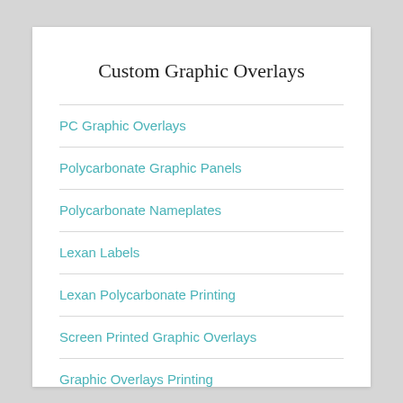Custom Graphic Overlays
PC Graphic Overlays
Polycarbonate Graphic Panels
Polycarbonate Nameplates
Lexan Labels
Lexan Polycarbonate Printing
Screen Printed Graphic Overlays
Graphic Overlays Printing